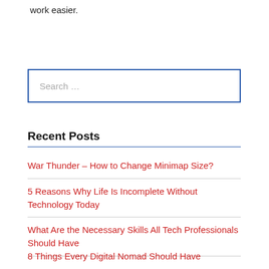work easier.
Search …
Recent Posts
War Thunder – How to Change Minimap Size?
5 Reasons Why Life Is Incomplete Without Technology Today
What Are the Necessary Skills All Tech Professionals Should Have
8 Things Every Digital Nomad Should Have